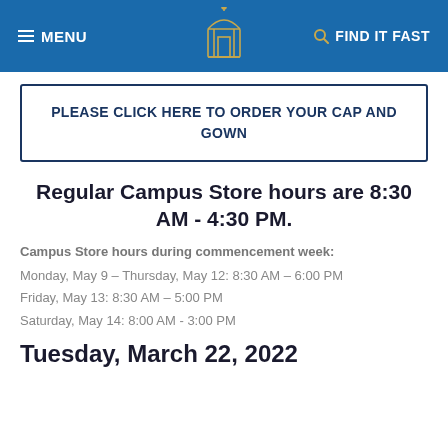MENU | [logo] | FIND IT FAST
PLEASE CLICK HERE TO ORDER YOUR CAP AND GOWN
Regular Campus Store hours are 8:30 AM - 4:30 PM.
Campus Store hours during commencement week:
Monday, May 9 – Thursday, May 12: 8:30 AM – 6:00 PM
Friday, May 13: 8:30 AM – 5:00 PM
Saturday, May 14: 8:00 AM - 3:00 PM
Tuesday, March 22, 2022